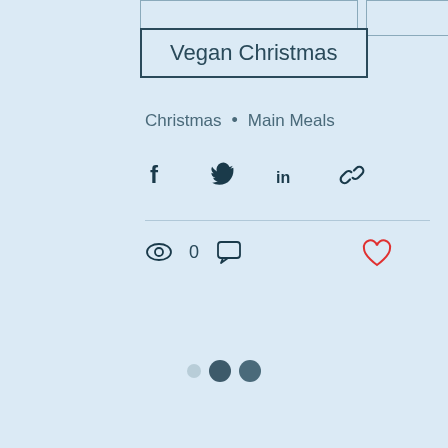[Figure (screenshot): Partial top buttons (cropped at top of page)]
Vegan Christmas
Christmas • Main Meals
[Figure (infographic): Social share icons: Facebook, Twitter, LinkedIn, link]
[Figure (infographic): Stats row: eye icon with 0 views, comment icon; heart/like icon on right]
[Figure (infographic): Three pagination dots: small light, medium dark, medium dark]